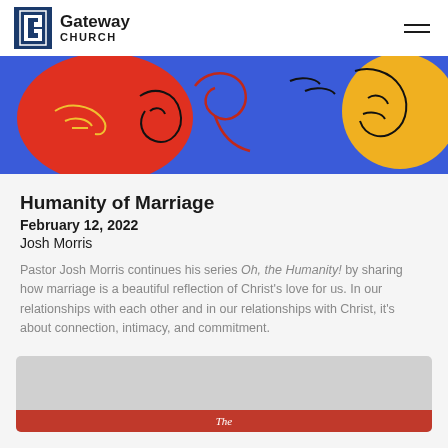Gateway Church
[Figure (illustration): Colorful abstract line art illustration on blue background featuring two abstract face profiles rendered in continuous line style, with red and yellow circular shapes, red swirls, and yellow line-art face on right side]
Humanity of Marriage
February 12, 2022
Josh Morris
Pastor Josh Morris continues his series Oh, the Humanity! by sharing how marriage is a beautiful reflection of Christ's love for us. In our relationships with each other and in our relationships with Christ, it's about connection, intimacy, and commitment.
[Figure (screenshot): Partially visible video thumbnail card at bottom of page with dark gray background and a red bar at bottom containing the text 'The' in italic white]